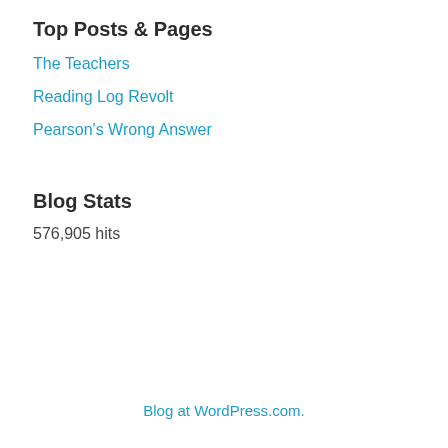Top Posts & Pages
The Teachers
Reading Log Revolt
Pearson's Wrong Answer
Blog Stats
576,905 hits
Blog at WordPress.com.